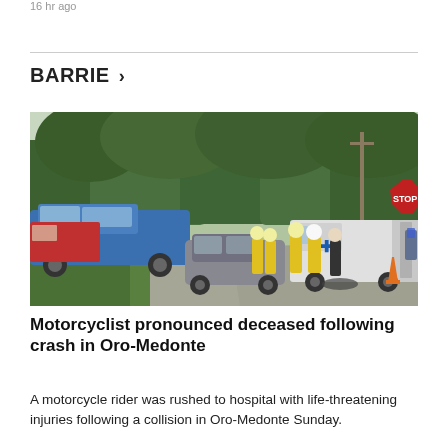16 hr ago
BARRIE >
[Figure (photo): Emergency scene on a rural road in Oro-Medonte: firefighters in yellow high-visibility gear, a damaged dark sedan on the grass, an ambulance with rear doors open, a blue pickup truck, a fire truck, a stop sign, and an orange traffic cone. Trees line the background.]
Motorcyclist pronounced deceased following crash in Oro-Medonte
A motorcycle rider was rushed to hospital with life-threatening injuries following a collision in Oro-Medonte Sunday.